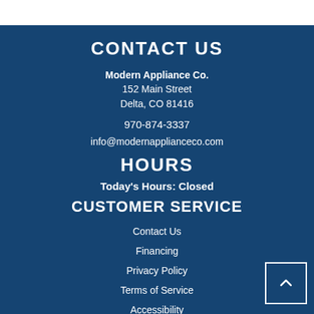CONTACT US
Modern Appliance Co.
152 Main Street
Delta, CO 81416
970-874-3337
info@modernapplianceco.com
HOURS
Today's Hours: Closed
CUSTOMER SERVICE
Contact Us
Financing
Privacy Policy
Terms of Service
Accessibility